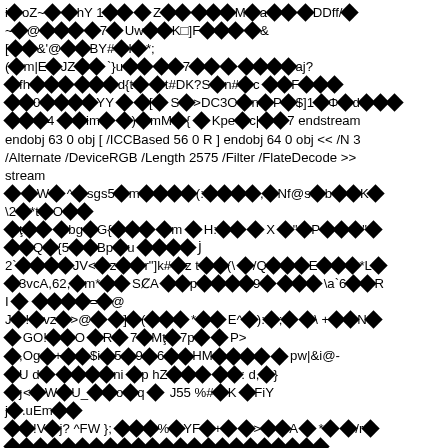Binary/encoded PDF stream data with ICC color profile objects and FlateDecode filter content. Contains PDF object definitions: endobj 63 0 obj [ /ICCBased 56 0 R ] endobj 64 0 obj << /N 3 /Alternate /DeviceRGB /Length 2575 /Filter /FlateDecode >> stream ... endstream